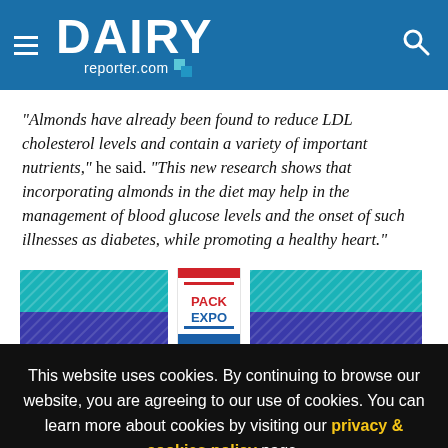DAIRY reporter.com
"Almonds have already been found to reduce LDL cholesterol levels and contain a variety of important nutrients," he said. "This new research shows that incorporating almonds in the diet may help in the management of blood glucose levels and the onset of such illnesses as diabetes, while promoting a healthy heart."
[Figure (other): Advertisement banner strip showing PACK EXPO logo between two banner ads with teal/blue striped patterns]
This website uses cookies. By continuing to browse our website, you are agreeing to our use of cookies. You can learn more about cookies by visiting our privacy & cookies policy page.
I Agree